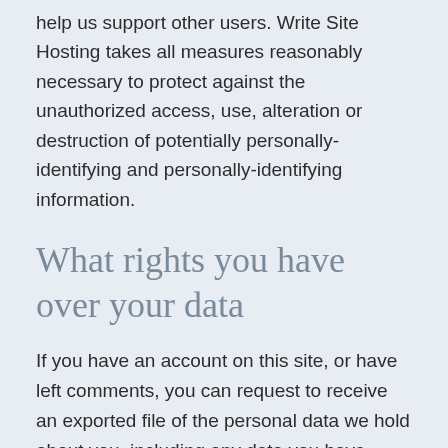help us support other users. Write Site Hosting takes all measures reasonably necessary to protect against the unauthorized access, use, alteration or destruction of potentially personally-identifying and personally-identifying information.
What rights you have over your data
If you have an account on this site, or have left comments, you can request to receive an exported file of the personal data we hold about you, including any data you have provided to us. You can also request that we erase any personal data we hold about you. This does not include any data we are obliged to keep for administrative, legal, or security